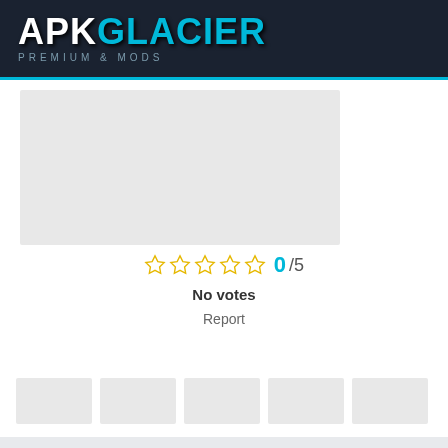APKGLACIER PREMIUM & MODS
[Figure (screenshot): App screenshot placeholder (gray rectangle)]
☆☆☆☆☆ 0/5
No votes
Report
[Figure (photo): Five thumbnail image placeholders in a horizontal row]
DESCRIPTION
Hi! Card Wars Adventure Time Game Level,s If you are looking to download Latest Card Wars Adventure Time Mod Apk (1.11.0) + Unlimited Coins/Unlocked + No Ads, then congratulations you have come to the right page. On this page,